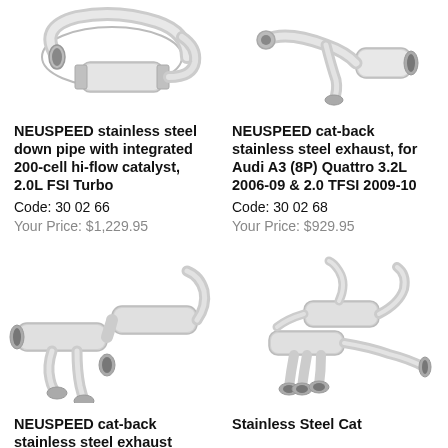[Figure (photo): NEUSPEED stainless steel down pipe with integrated 200-cell hi-flow catalyst product photo]
[Figure (photo): NEUSPEED cat-back stainless steel exhaust for Audi A3 product photo]
NEUSPEED stainless steel down pipe with integrated 200-cell hi-flow catalyst, 2.0L FSI Turbo
Code: 30 02 66
Your Price: $1,229.95
NEUSPEED cat-back stainless steel exhaust, for Audi A3 (8P) Quattro 3.2L 2006-09 & 2.0 TFSI 2009-10
Code: 30 02 68
Your Price: $929.95
[Figure (photo): NEUSPEED cat-back stainless steel exhaust system product photo]
[Figure (photo): Stainless Steel Cat product photo]
NEUSPEED cat-back stainless steel exhaust
Stainless Steel Cat